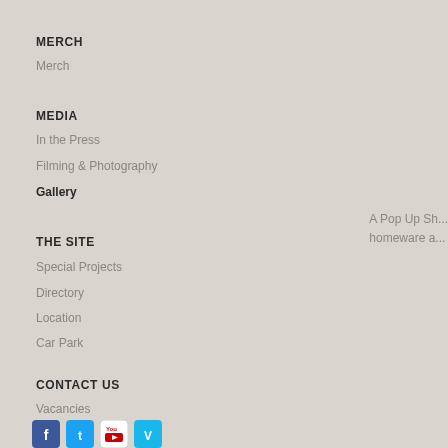MERCH
Merch
MEDIA
In the Press
Filming & Photography
Gallery
THE SITE
Special Projects
Directory
Location
Car Park
CONTACT US
Vacancies
A Pop Up Sh... homeware a...
[Figure (infographic): Social media icons: Facebook, Twitter, YouTube, Vimeo]